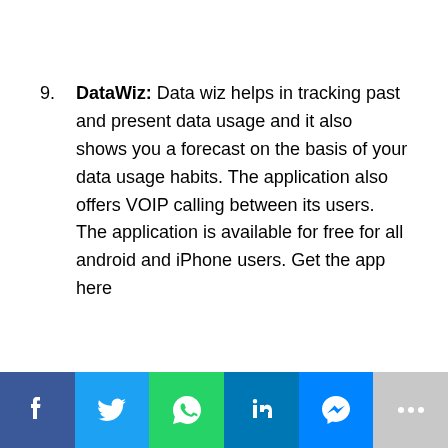9. DataWiz: Data wiz helps in tracking past and present data usage and it also shows you a forecast on the basis of your data usage habits. The application also offers VOIP calling between its users. The application is available for free for all android and iPhone users. Get the app here
Social share bar: Facebook, Twitter, WhatsApp, LinkedIn, Messenger, More